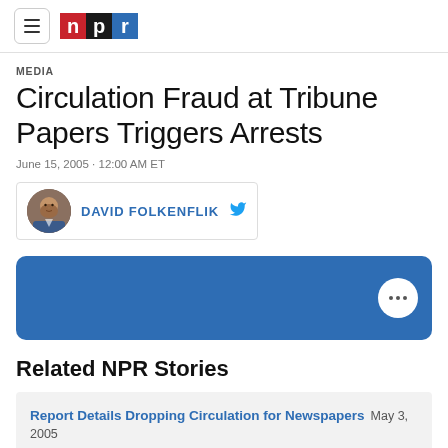NPR navigation header with hamburger menu and NPR logo
MEDIA
Circulation Fraud at Tribune Papers Triggers Arrests
June 15, 2005 · 12:00 AM ET
DAVID FOLKENFLIK
[Figure (other): NPR audio player widget with blue background and three-dot menu button]
Related NPR Stories
Report Details Dropping Circulation for Newspapers May 3, 2005